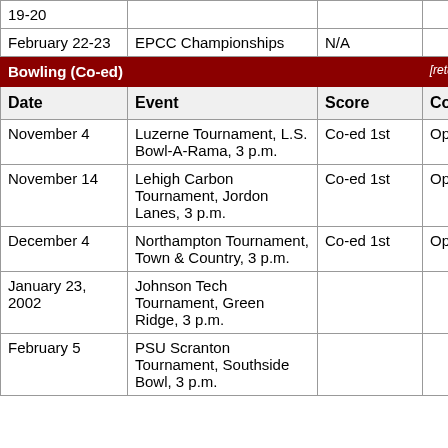| Date | Event | Score | Comment |
| --- | --- | --- | --- |
| 19-20 (partial/cut off) |  |  |  |
| February 22-23 | EPCC Championships | N/A |  |
| Bowling (Co-ed) [section header] |  |  | [return to top] |
| Date | Event | Score | Comment |
| November 4 | Luzerne Tournament, L.S. Bowl-A-Rama, 3 p.m. | Co-ed 1st | Open 2nd |
| November 14 | Lehigh Carbon Tournament, Jordon Lanes, 3 p.m. | Co-ed 1st | Open 3rd |
| December 4 | Northampton Tournament, Town & Country, 3 p.m. | Co-ed 1st | Open 2nd |
| January 23, 2002 | Johnson Tech Tournament, Green Ridge, 3 p.m. |  |  |
| February 5 | PSU Scranton Tournament, Southside Bowl, 3 p.m. |  |  |